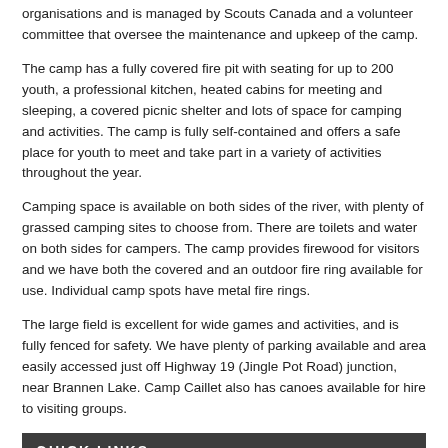organisations and is managed by Scouts Canada and a volunteer committee that oversee the maintenance and upkeep of the camp.
The camp has a fully covered fire pit with seating for up to 200 youth, a professional kitchen, heated cabins for meeting and sleeping, a covered picnic shelter and lots of space for camping and activities. The camp is fully self-contained and offers a safe place for youth to meet and take part in a variety of activities throughout the year.
Camping space is available on both sides of the river, with plenty of grassed camping sites to choose from. There are toilets and water on both sides for campers. The camp provides firewood for visitors and we have both the covered and an outdoor fire ring available for use. Individual camp spots have metal fire rings.
The large field is excellent for wide games and activities, and is fully fenced for safety. We have plenty of parking available and area easily accessed just off Highway 19 (Jingle Pot Road) junction, near Brannen Lake. Camp Caillet also has canoes available for hire to visiting groups.
QUICK LINKS